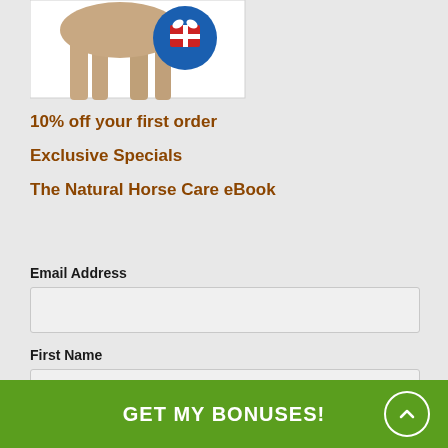[Figure (photo): Partial view of a horse with a blue circle badge containing a red gift box icon, on white background]
10% off your first order
Exclusive Specials
The Natural Horse Care eBook
Email Address
First Name
GET MY BONUSES!